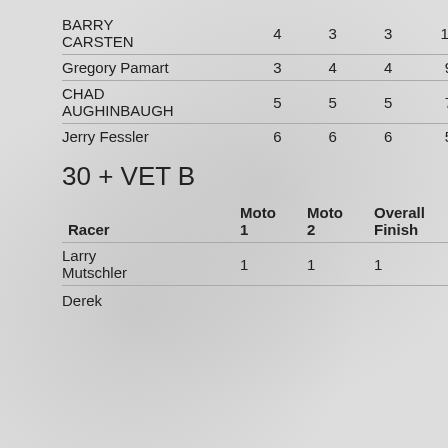| Racer | Moto 1 | Moto 2 | Overall Finish | Advancement Points |
| --- | --- | --- | --- | --- |
| BARRY CARSTEN | 4 | 3 | 3 | 11 |
| Gregory Pamart | 3 | 4 | 4 | 9 |
| CHAD AUGHINBAUGH | 5 | 5 | 5 | 7 |
| Jerry Fessler | 6 | 6 | 6 | 5 |
30 + VET B
| Racer | Moto 1 | Moto 2 | Overall Finish | Advancement Points |
| --- | --- | --- | --- | --- |
| Larry Mutschler | 1 | 1 | 1 | 15 |
| Derek |  |  |  |  |